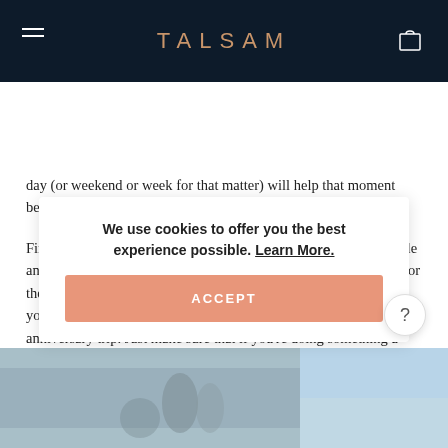TALSAM
day (or weekend or week for that matter) will help that moment become a more holistic and enriching experience.
Firstly, it's worth deciding how much time you want to devote to 'le anniversary.' If it's going to be a low-key one, perhaps staying in for the evening or planning an evening or day out is the way to go. If you're aiming for maximum impact, try a weekend away, or anniversary trip. Just make sure that if you're doing something a little more on the 'grand affair' side of the scale that you take enough time to plan things through. If you've decided to throw a party and invite a few close friends and relatives, remember to [ice and choose a]
We use cookies to offer you the best experience possible. Learn More.
ACCEPT
[Figure (photo): Bottom strip showing partial photo of people, sky visible on right side]